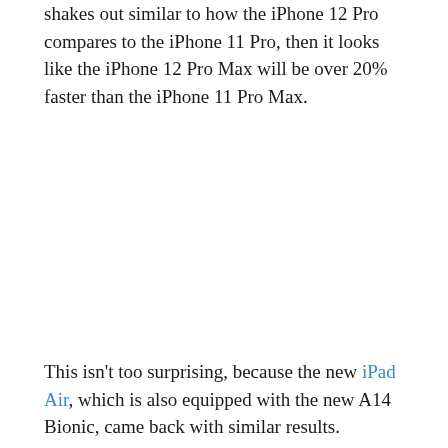shakes out similar to how the iPhone 12 Pro compares to the iPhone 11 Pro, then it looks like the iPhone 12 Pro Max will be over 20% faster than the iPhone 11 Pro Max.
This isn't too surprising, because the new iPad Air, which is also equipped with the new A14 Bionic, came back with similar results.